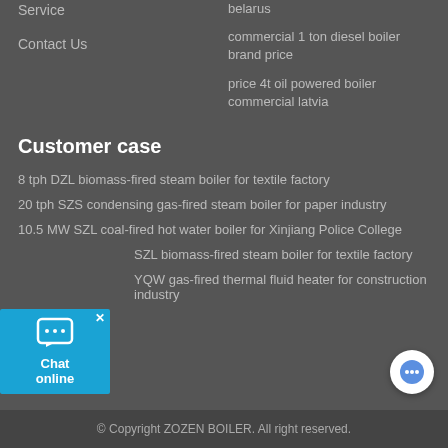Service
belarus
Contact Us
commercial 1 ton diesel boiler brand price
price 4t oil powered boiler commercial latvia
Customer case
8 tph DZL biomass-fired steam boiler for textile factory
20 tph SZS condensing gas-fired steam boiler for paper industry
10.5 MW SZL coal-fired hot water boiler for Xinjiang Police College
SZL biomass-fired steam boiler for textile factory
YQW gas-fired thermal fluid heater for construction industry
© Copyright ZOZEN BOILER. All right reserved.